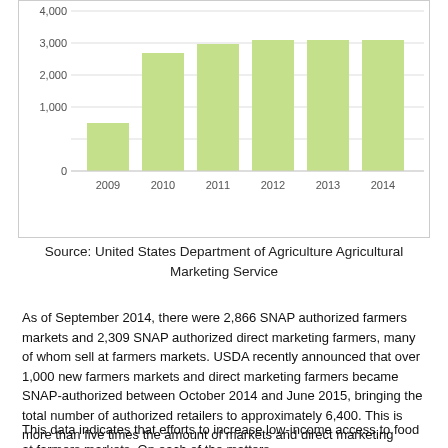[Figure (bar-chart): ]
Source: United States Department of Agriculture Agricultural Marketing Service
As of September 2014, there were 2,866 SNAP authorized farmers markets and 2,309 SNAP authorized direct marketing farmers, many of whom sell at farmers markets. USDA recently announced that over 1,000 new farmers markets and direct marketing farmers became SNAP-authorized between October 2014 and June 2015, bringing the total number of authorized retailers to approximately 6,400. This is more than five times the amount of markets and direct marketing farmers authorized in 2009.
This data indicates that efforts to increase low-income access to food at farmers markets. On each of these matters...